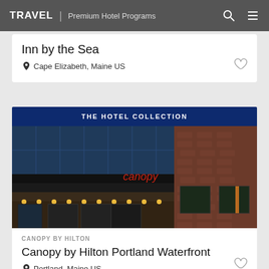TRAVEL | Premium Hotel Programs
Inn by the Sea
Cape Elizabeth, Maine US
THE HOTEL COLLECTION
[Figure (photo): Exterior nighttime photo of Canopy by Hilton hotel entrance with illuminated canopy lights and brick building facade. Red neon 'canopy' sign visible above entrance.]
CANOPY BY HILTON
Canopy by Hilton Portland Waterfront
Portland, Maine US